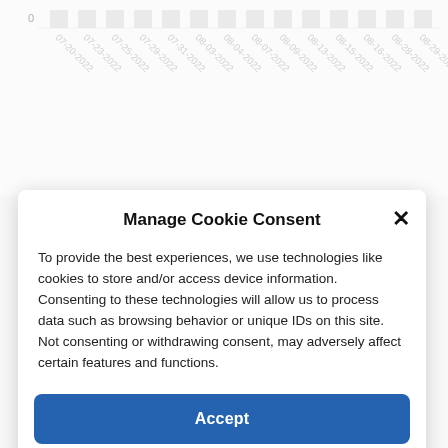[Figure (bar-chart): Partial bar chart visible behind cookie consent modal, with x-axis dates from 07-20-2022 to 08-29-2022, y-axis showing 0 at top visible portion.]
Manage Cookie Consent
To provide the best experiences, we use technologies like cookies to store and/or access device information. Consenting to these technologies will allow us to process data such as browsing behavior or unique IDs on this site. Not consenting or withdrawing consent, may adversely affect certain features and functions.
Accept
Deny
View preferences